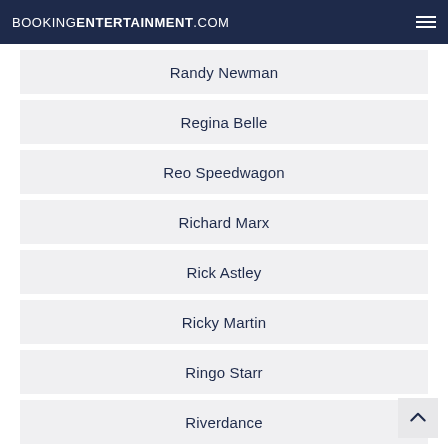BOOKINGENTERTAINMENT.COM
Randy Newman
Regina Belle
Reo Speedwagon
Richard Marx
Rick Astley
Ricky Martin
Ringo Starr
Riverdance
Rob Thomas